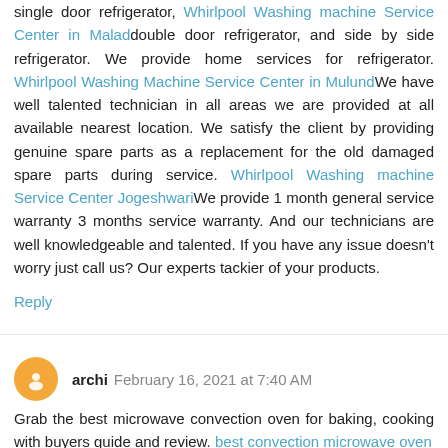single door refrigerator, Whirlpool Washing machine Service Center in Maladdouble door refrigerator, and side by side refrigerator. We provide home services for refrigerator. Whirlpool Washing Machine Service Center in MulundWe have well talented technician in all areas we are provided at all available nearest location. We satisfy the client by providing genuine spare parts as a replacement for the old damaged spare parts during service. Whirlpool Washing machine Service Center JogeshwariWe provide 1 month general service warranty 3 months service warranty. And our technicians are well knowledgeable and talented. If you have any issue doesn't worry just call us? Our experts tackier of your products.
Reply
archi  February 16, 2021 at 7:40 AM
Grab the best microwave convection oven for baking, cooking with buyers guide and review. best convection microwave oven
Reply